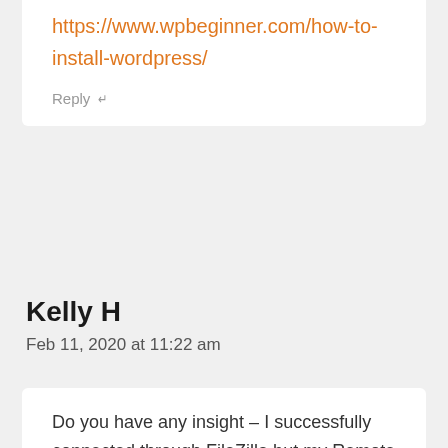https://www.wpbeginner.com/how-to-install-wordpress/
Reply ↵
Kelly H
Feb 11, 2020 at 11:22 am
Do you have any insight – I successfully connected through FileZilla but my Remote Site is blank. What am I doing wrong?
Reply ↵